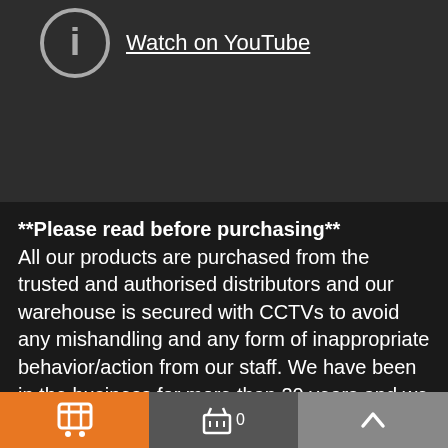[Figure (screenshot): YouTube video thumbnail area with a circular play/info icon and 'Watch on YouTube' link text on dark background]
**Please read before purchasing** All our products are purchased from the trusted and authorised distributors and our warehouse is secured with CCTVs to avoid any mishandling and any form of inappropriate behavior/action from our staff. We have been in the business for more than 20 years and we always uphold our ethics, values, and standards. All our products are handed over to our customers in their original form since we received them from the
[Figure (infographic): Bottom navigation bar with orange cart icon button, grey basket with count 0, and grey up-arrow button]